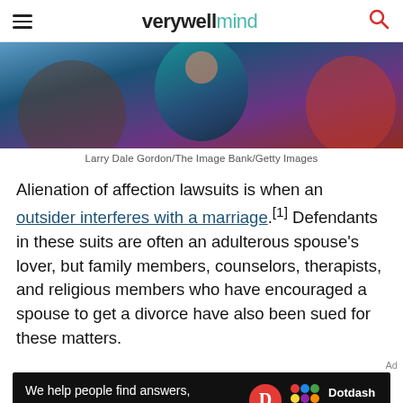verywell mind
[Figure (photo): A child in a teal hoodie with hands behind their head, partially visible adults on either side, dark background]
Larry Dale Gordon/The Image Bank/Getty Images
Alienation of affection lawsuits is when an outsider interferes with a marriage.[1] Defendants in these suits are often an adulterous spouse's lover, but family members, counselors, therapists, and religious members who have encouraged a spouse to get a divorce have also been sued for these matters.
[Figure (other): Dotdash Meredith advertisement banner: 'We help people find answers, solve problems and get inspired.']